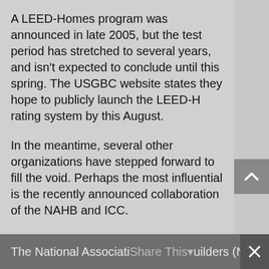A LEED-Homes program was announced in late 2005, but the test period has stretched to several years, and isn't expected to conclude until this spring. The USGBC website states they hope to publicly launch the LEED-H rating system by this August.
In the meantime, several other organizations have stepped forward to fill the void. Perhaps the most influential is the recently announced collaboration of the NAHB and ICC.
In February, these two organizations, likely the two most influential groups in residential construction, announced they are working to create their own residential green building standard.
The National AssociatiShare This▾Duilders (NAHB) has